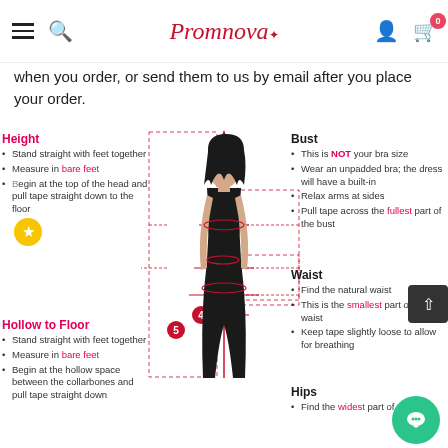Promnova — navigation header with hamburger, search, logo, user, cart (0)
when you order, or send them to us by email after you place your order.
[Figure (infographic): Body measurement guide diagram showing a woman with numbered measurement points (1=Bust, 2=Waist, 3=Hips, 4=Hollow to Floor, 5=Height) with dashed lines pointing to left and right annotation columns explaining how to take each measurement. Left side: Height and Hollow to Floor instructions. Right side: Bust, Waist, Hips instructions.]